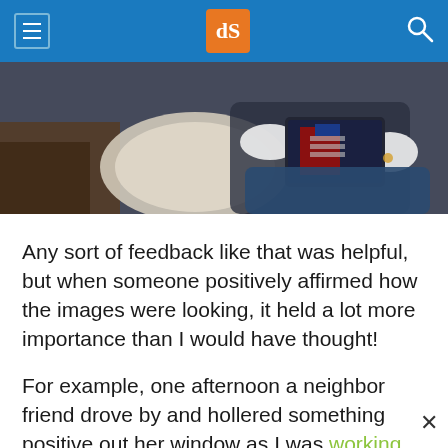dPS (digital Photography School) navigation header with hamburger menu, logo, and search icon
[Figure (photo): Person sitting on a couch holding a tablet/book, wearing a white sweater and jeans, with pillows visible in the background]
Any sort of feedback like that was helpful, but when someone positively affirmed how the images were looking, it held a lot more importance than I would have thought!
For example, one afternoon a neighbor friend drove by and hollered something positive out her window as I was working on a self-portrait i